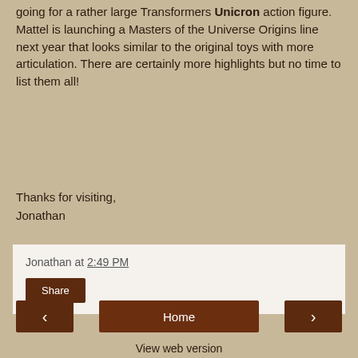going for a rather large Transformers Unicron action figure. Mattel is launching a Masters of the Universe Origins line next year that looks similar to the original toys with more articulation. There are certainly more highlights but no time to list them all!
Thanks for visiting,
Jonathan
Jonathan at 2:49 PM
Share
No comments:
Post a Comment
‹
Home
›
View web version